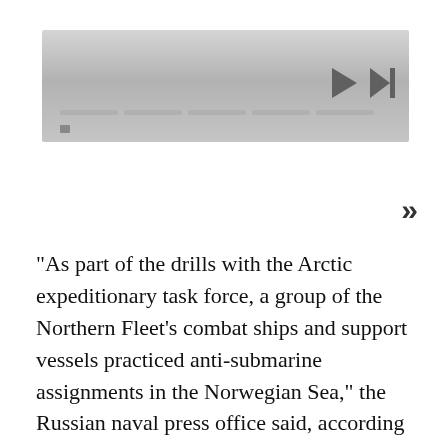[Figure (screenshot): A media player UI with gradient gray background, play and skip-forward controls on the right, and a progress/timeline bar at the bottom.]
>>
"As part of the drills with the Arctic expeditionary task force, a group of the Northern Fleet's combat ships and support vessels practiced anti-submarine assignments in the Norwegian Sea," the Russian naval press office said, according to Russian state-backed news outlet TASS. "The crews of the missile cruiser Marshal Ustinov and the frigate Fleet Admiral